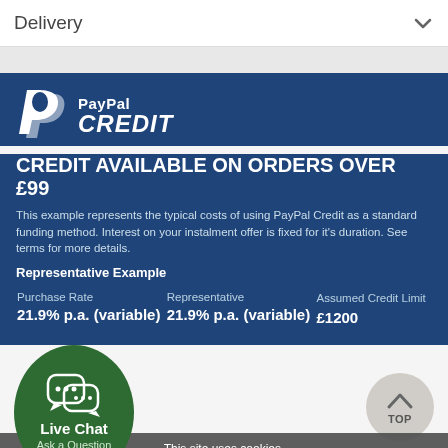Delivery
[Figure (logo): PayPal Credit logo with stylized P icon and PayPal CREDIT text in white on dark blue background]
CREDIT AVAILABLE ON ORDERS OVER £99
This example represents the typical costs of using PayPal Credit as a standard funding method. Interest on your instalment offer is fixed for it's duration. See terms for more details.
Representative Example
| Purchase Rate | Representative | Assumed Credit Limit |
| --- | --- | --- |
| 21.9% p.a. (variable) | 21.9% p.a. (variable) | £1200 |
[Figure (illustration): Green circular Live Chat button with speech bubble icons and text 'Live Chat Ask a Question']
[Figure (illustration): Grey circular TOP button with upward chevron arrow]
This site uses cookies. About our cookie policy.